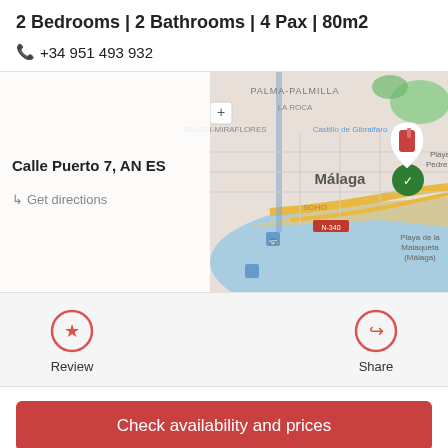2 Bedrooms | 2 Bathrooms | 4 Pax | 80m2
+34 951 493 932
[Figure (map): Google Maps view showing Málaga, Spain with a red location pin at Calle Puerto 7. Map shows areas including PALMA-PALMILLA, LA ROCA, BAILÉN-MIRAFLORES, Castillo de Gibralfaro, SOHO, N-340, Playa de la Malaqueta (Málaga), and Playa Pedrega.]
Calle Puerto 7, AN ES
↳ Get directions
Review
Share
Check availability and prices